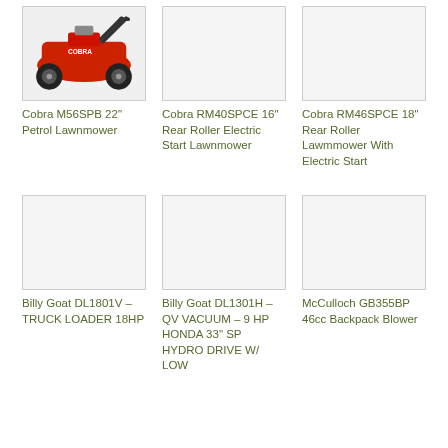[Figure (photo): Cobra M56SPB red petrol lawnmower photo]
Cobra M56SPB 22" Petrol Lawnmower
[Figure (photo): Cobra RM40SPCE product image placeholder]
Cobra RM40SPCE 16" Rear Roller Electric Start Lawnmower
[Figure (photo): Cobra RM46SPCE product image placeholder]
Cobra RM46SPCE 18" Rear Roller Lawmmower With Electric Start
[Figure (photo): Billy Goat DL1801V product image placeholder]
Billy Goat DL1801V – TRUCK LOADER 18HP
[Figure (photo): Billy Goat DL1301H product image placeholder]
Billy Goat DL1301H – QV VACUUM – 9 HP HONDA 33" SP HYDRO DRIVE W/ LOW
[Figure (photo): McCulloch GB355BP product image placeholder]
McCulloch GB355BP 46cc Backpack Blower